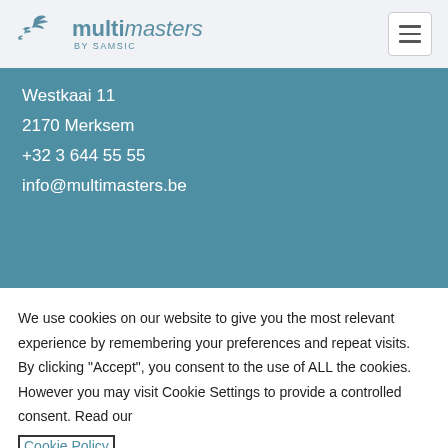[Figure (logo): Multimasters by Samsic logo with bird silhouettes]
Westkaai 11
2170 Merksem
+32 3 644 55 55
info@multimasters.be
We use cookies on our website to give you the most relevant experience by remembering your preferences and repeat visits. By clicking “Accept”, you consent to the use of ALL the cookies. However you may visit Cookie Settings to provide a controlled consent. Read our Cookie Policy